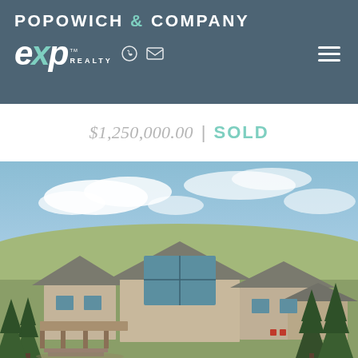POPOWICH & COMPANY — eXp Realty header with phone and email icons
$1,250,000.00 | SOLD
[Figure (photo): Aerial/elevated exterior photo of a large two-storey residential home with pitched roofs, large windows, wrap-around deck, surrounded by mature evergreen trees, with rolling hills and cloudy blue sky in the background.]